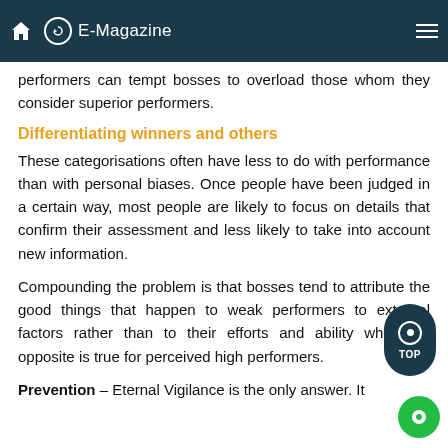E-Magazine
performers can tempt bosses to overload those whom they consider superior performers.
Differentiating winners and others
These categorisations often have less to do with performance than with personal biases. Once people have been judged in a certain way, most people are likely to focus on details that confirm their assessment and less likely to take into account new information.
Compounding the problem is that bosses tend to attribute the good things that happen to weak performers to external factors rather than to their efforts and ability while the opposite is true for perceived high performers.
Prevention – Eternal Vigilance is the only answer. It